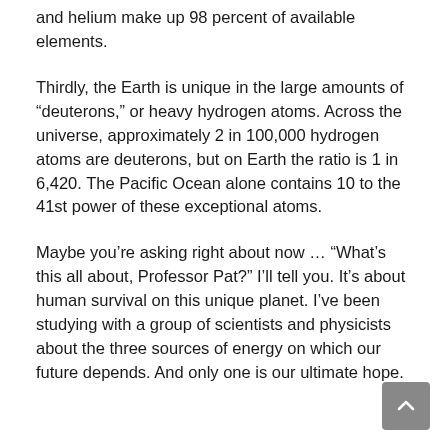and helium make up 98 percent of available elements.
Thirdly, the Earth is unique in the large amounts of “deuterons,” or heavy hydrogen atoms. Across the universe, approximately 2 in 100,000 hydrogen atoms are deuterons, but on Earth the ratio is 1 in 6,420. The Pacific Ocean alone contains 10 to the 41st power of these exceptional atoms.
Maybe you’re asking right about now … “What’s this all about, Professor Pat?” I’ll tell you. It’s about human survival on this unique planet. I’ve been studying with a group of scientists and physicists about the three sources of energy on which our future depends. And only one is our ultimate hope.